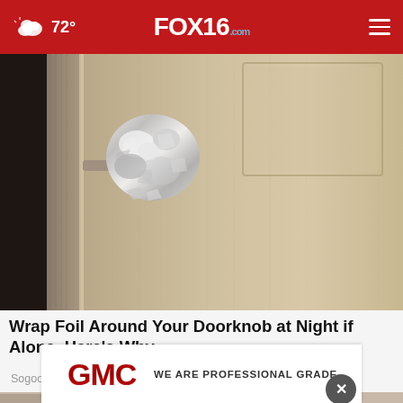72° FOX16.com
[Figure (photo): Close-up photo of a wooden door with aluminum foil wrapped around the door knob]
Wrap Foil Around Your Doorknob at Night if Alone, Here's Why
Sogoodly
[Figure (logo): GMC logo with text: WE ARE PROFESSIONAL GRADE]